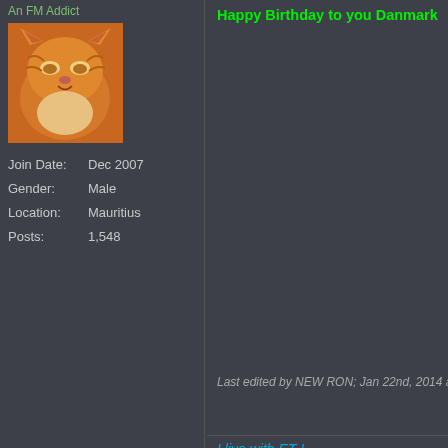An FM Addict
[Figure (photo): Avatar image of Garfield the cartoon cat]
Join Date: Dec 2007
Gender: Male
Location: Mauritius
Posts: 1,548
Happy Birthday to you Danmark On
Last edited by NEW RON; Jan 22nd, 2014 a
I live with ET !